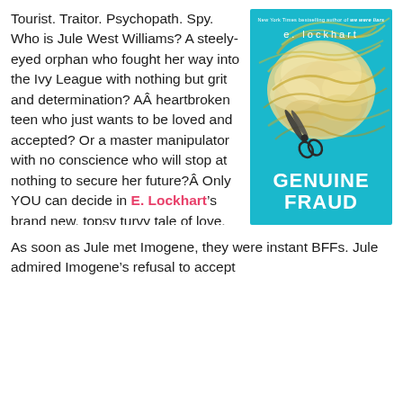Tourist. Traitor. Psychopath. Spy. Who is Jule West Williams? A steely-eyed orphan who fought her way into the Ivy League with nothing but grit and determination? A heartbroken teen who just wants to be loved and accepted? Or a master manipulator with no conscience who will stop at nothing to secure her future? Only YOU can decide in E. Lockhart's brand new, topsy turvy tale of love, murder and betrayal.
[Figure (illustration): Book cover of 'Genuine Fraud' by E. Lockhart. Teal/turquoise background with swirling blonde hair and scissors. White text reads 'GENUINE FRAUD'. Top text reads 'New York Times bestselling author of we were liars' and author name 'e. lockhart'.]
As soon as Jule met Imogene, they were instant BFFs. Jule admired Imogene's refusal to accept